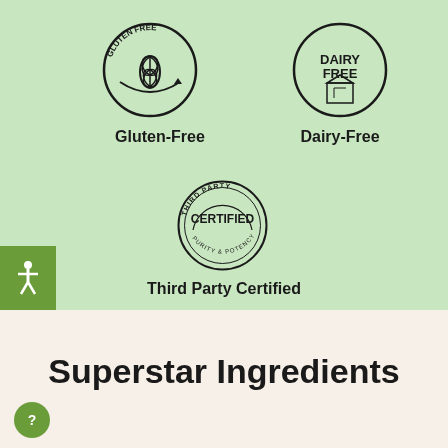[Figure (logo): Gluten Free circular badge with wheat/leaf icon and text GLUTEN FREE around the circle]
Gluten-Free
[Figure (logo): Dairy Free circular badge with milk carton icon and text DAIRY FREE in the center]
Dairy-Free
[Figure (logo): Third Party Certified circular stamp badge with text THIRD PARTY CERTIFIED PURITY & POTENCY]
Third Party Certified
Superstar Ingredients